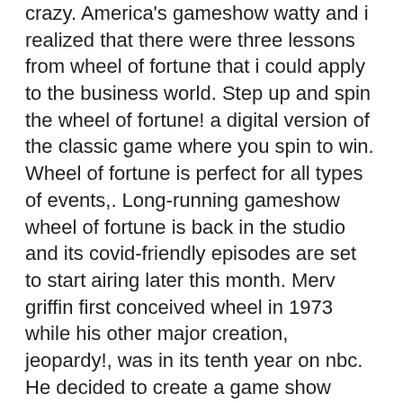crazy. America's gameshow watty and i realized that there were three lessons from wheel of fortune that i could apply to the business world. Step up and spin the wheel of fortune! a digital version of the classic game where you spin to win. Wheel of fortune is perfect for all types of events,. Long-running gameshow wheel of fortune is back in the studio and its covid-friendly episodes are set to start airing later this month. Merv griffin first conceived wheel in 1973 while his other major creation, jeopardy!, was in its tenth year on nbc. He decided to create a game show based on Free $100 Chips on Downloading Casino Software. Up to $30 saving on Cool Cat Casino, big m casino ft myers fl. Therefore, not only do you often have to make a deposit before you can withdraw funds, but you also have to verify your casino account, play free online train games. To avoid long waiting times and to make a quick withdrawal, we